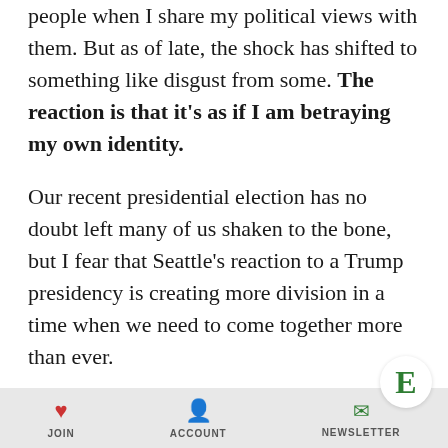people when I share my political views with them. But as of late, the shock has shifted to something like disgust from some. The reaction is that it's as if I am betraying my own identity.
Our recent presidential election has no doubt left many of us shaken to the bone, but I fear that Seattle's reaction to a Trump presidency is creating more division in a time when we need to come together more than ever.
It has taken years for me to develop my closely held political views, but at the same time, I try to surround myself with people
JOIN   ACCOUNT   NEWSLETTER